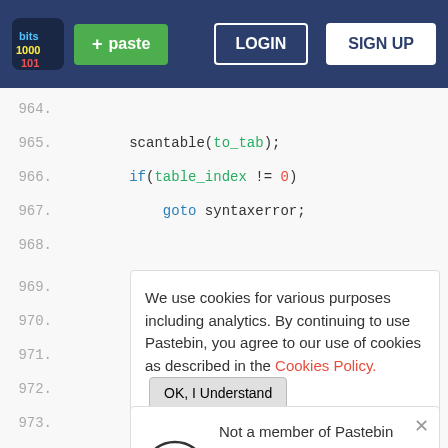[Figure (screenshot): Pastebin website header with logo, green paste button, LOGIN and SIGN UP buttons on dark blue background]
964.
965.    scantable(to_tab);
966.    if(table_index != 0)
967.        goto syntaxerror;
968.
We use cookies for various purposes including analytics. By continuing to use Pastebin, you agree to our use of cookies as described in the Cookies Policy. OK, I Understand
Not a member of Pastebin yet? Sign Up, it unlocks many cool features!
976.    step = expression();
977.    if(expression_error)
978.        goto invalidexpr;
979.    }
980.    else